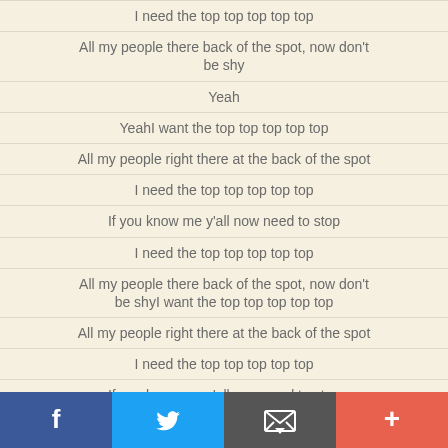I need the top top top top top
All my people there back of the spot, now don't be shy
Yeah
YeahI want the top top top top top
All my people right there at the back of the spot
I need the top top top top top
If you know me y'all now need to stop
I need the top top top top top
All my people there back of the spot, now don't be shyI want the top top top top top
All my people right there at the back of the spot
I need the top top top top top
If you know me y'all now need to stop